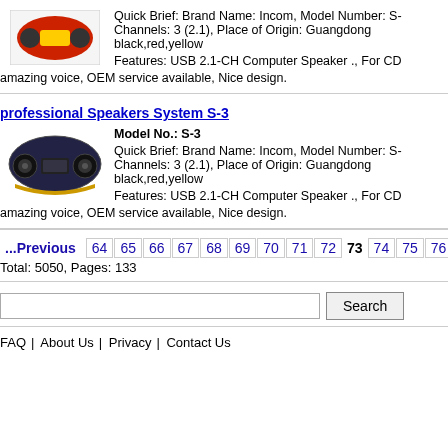Quick Brief: Brand Name: Incom, Model Number: S-... Channels: 3 (2.1), Place of Origin: Guangdong ... black,red,yellow
Features: USB 2.1-CH Computer Speaker ., For CD... amazing voice, OEM service available, Nice design.
professional Speakers System S-3
[Figure (photo): Oval-shaped black and yellow speaker product photo for model S-3]
Model No.: S-3
Quick Brief: Brand Name: Incom, Model Number: S-... Channels: 3 (2.1), Place of Origin: Guangdong ... black,red,yellow
Features: USB 2.1-CH Computer Speaker ., For CD... amazing voice, OEM service available, Nice design.
...Previous  64  65  66  67  68  69  70  71  72  73  74  75  76
Total: 5050, Pages: 133
Search
FAQ | About Us | Privacy | Contact Us